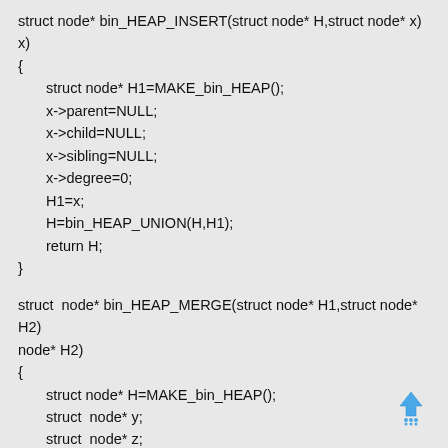struct node* bin_HEAP_INSERT(struct node* H,struct node* x)
{
    struct node* H1=MAKE_bin_HEAP();
    x->parent=NULL;
    x->child=NULL;
    x->sibling=NULL;
    x->degree=0;
    H1=x;
    H=bin_HEAP_UNION(H,H1);
    return H;
}
struct  node* bin_HEAP_MERGE(struct node* H1,struct node* H2)
{
    struct node* H=MAKE_bin_HEAP();
    struct  node* y;
    struct  node* z;
    struct  node* a;
    struct node* b;
    y=H1;